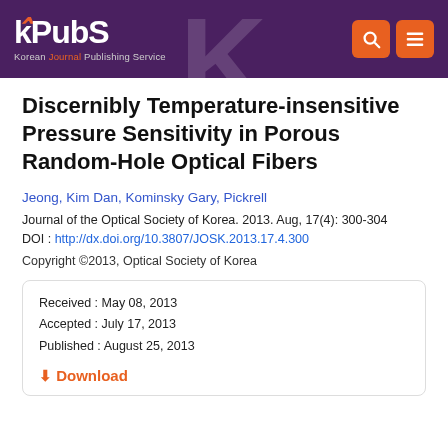KPubS Korean Journal Publishing Service
Discernibly Temperature-insensitive Pressure Sensitivity in Porous Random-Hole Optical Fibers
Jeong, Kim Dan, Kominsky Gary, Pickrell
Journal of the Optical Society of Korea. 2013. Aug, 17(4): 300-304
DOI : http://dx.doi.org/10.3807/JOSK.2013.17.4.300
Copyright ©2013, Optical Society of Korea
Received : May 08, 2013
Accepted : July 17, 2013
Published : August 25, 2013